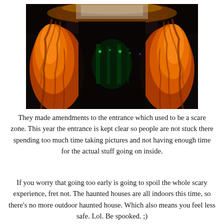[Figure (photo): A dramatic Halloween haunted house entrance with two large pillars glowing in orange and red light, resembling fiery tree trunks or demonic structures. The archway leads into a dark interior. The image is dark with vivid orange/red lighting illuminating the entrance pillars.]
They made amendments to the entrance which used to be a scare zone. This year the entrance is kept clear so people are not stuck there spending too much time taking pictures and not having enough time for the actual stuff going on inside.
If you worry that going too early is going to spoil the whole scary experience, fret not. The haunted houses are all indoors this time, so there's no more outdoor haunted house. Which also means you feel less safe. Lol. Be spooked. ;)